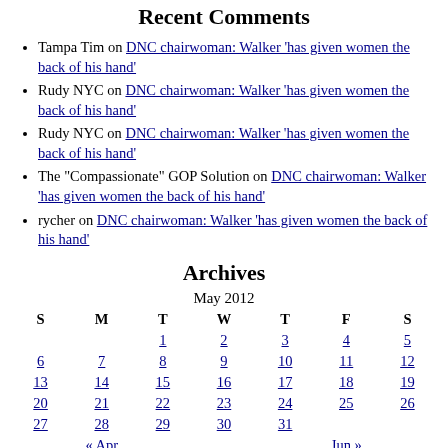Recent Comments
Tampa Tim on DNC chairwoman: Walker 'has given women the back of his hand'
Rudy NYC on DNC chairwoman: Walker 'has given women the back of his hand'
Rudy NYC on DNC chairwoman: Walker 'has given women the back of his hand'
The "Compassionate" GOP Solution on DNC chairwoman: Walker 'has given women the back of his hand'
rycher on DNC chairwoman: Walker 'has given women the back of his hand'
Archives
| S | M | T | W | T | F | S |
| --- | --- | --- | --- | --- | --- | --- |
|  |  | 1 | 2 | 3 | 4 | 5 |
| 6 | 7 | 8 | 9 | 10 | 11 | 12 |
| 13 | 14 | 15 | 16 | 17 | 18 | 19 |
| 20 | 21 | 22 | 23 | 24 | 25 | 26 |
| 27 | 28 | 29 | 30 | 31 |  |  |